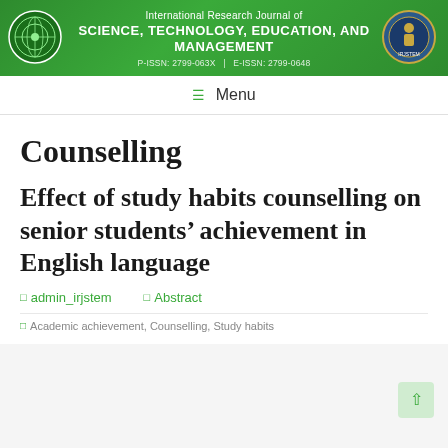[Figure (logo): International Research Journal of Science, Technology, Education, and Management header banner with green background, circular logos on left and right, journal title centered, P-ISSN: 2799-063X and E-ISSN: 2799-0648]
☰ Menu
Counselling
Effect of study habits counselling on senior students' achievement in English language
⊡ admin_irjstem   ⊡ Abstract
⊡ Academic achievement, Counselling, Study habits